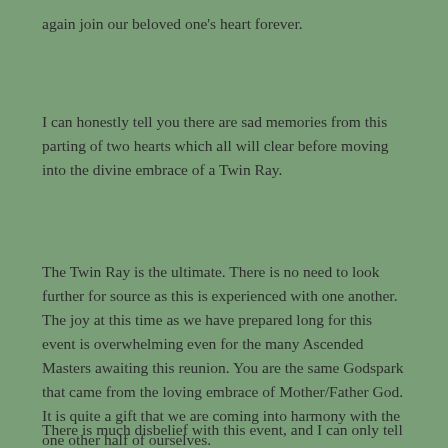again join our beloved one's heart forever.
I can honestly tell you there are sad memories from this parting of two hearts which all will clear before moving into the divine embrace of a Twin Ray.
The Twin Ray is the ultimate. There is no need to look further for source as this is experienced with one another. The joy at this time as we have prepared long for this event is overwhelming even for the many Ascended Masters awaiting this reunion. You are the same Godspark that came from the loving embrace of Mother/Father God. It is quite a gift that we are coming into harmony with the one other half of ourselves.
There is much disbelief with this event, and I can only tell